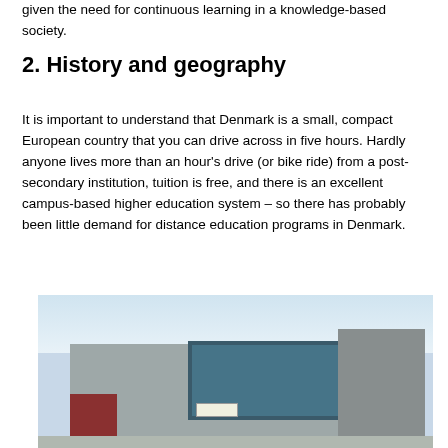given the need for continuous learning in a knowledge-based society.
2. History and geography
It is important to understand that Denmark is a small, compact European country that you can drive across in five hours. Hardly anyone lives more than an hour's drive (or bike ride) from a post-secondary institution, tuition is free, and there is an excellent campus-based higher education system – so there has probably been little demand for distance education programs in Denmark.
[Figure (photo): Photograph of a modern university or educational building exterior with glass facade, concrete panels, and a red brick section on the left.]